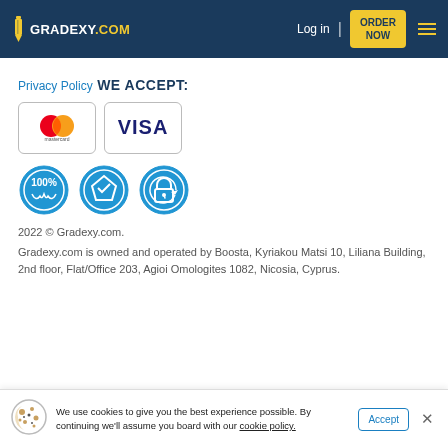GRADEXY.COM | Log in | ORDER NOW
Privacy Policy
WE ACCEPT:
[Figure (logo): Mastercard logo - two overlapping circles, red and orange, with 'mastercard' text below]
[Figure (logo): VISA logo in dark blue bold text on white background]
[Figure (infographic): Three blue circular trust badges: 100% guarantee badge, a diamond/shield icon badge, and a padlock security badge]
2022 © Gradexy.com.
Gradexy.com is owned and operated by Boosta, Kyriakou Matsi 10, Liliana Building, 2nd floor, Flat/Office 203, Agioi Omologites 1082, Nicosia, Cyprus.
We use cookies to give you the best experience possible. By continuing we'll assume you board with our cookie policy.